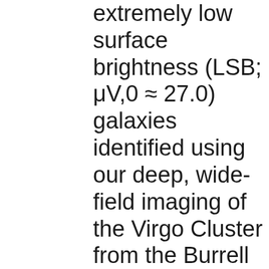extremely low surface brightness (LSB; μV,0 ≈ 27.0) galaxies identified using our deep, wide-field imaging of the Virgo Cluster from the Burrell Schmidt telescope. Complementary data from the Next Generation Virgo Cluster Survey do not resolve red giant branch stars in these objects down to i = 24, yielding a lower distance limit of 2.5 Mpc. At the Virgo distance, these objects have halflight radii 3-10 kpc and luminosities LV = 2-9 × 107